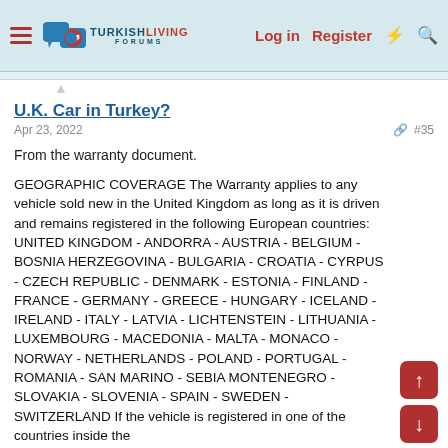TurkishLiving Forums — Log in | Register
U.K. Car in Turkey?
Apr 23, 2022   #35
From the warranty document.
GEOGRAPHIC COVERAGE The Warranty applies to any vehicle sold new in the United Kingdom as long as it is driven and remains registered in the following European countries: UNITED KINGDOM - ANDORRA - AUSTRIA - BELGIUM - BOSNIA HERZEGOVINA - BULGARIA - CROATIA - CYRPUS - CZECH REPUBLIC - DENMARK - ESTONIA - FINLAND - FRANCE - GERMANY - GREECE - HUNGARY - ICELAND - IRELAND - ITALY - LATVIA - LICHTENSTEIN - LITHUANIA - LUXEMBOURG - MACEDONIA - MALTA - MONACO - NORWAY - NETHERLANDS - POLAND - PORTUGAL - ROMANIA - SAN MARINO - SEBIA MONTENEGRO - SLOVAKIA - SLOVENIA - SPAIN - SWEDEN - SWITZERLAND If the vehicle is registered in one of the countries inside the